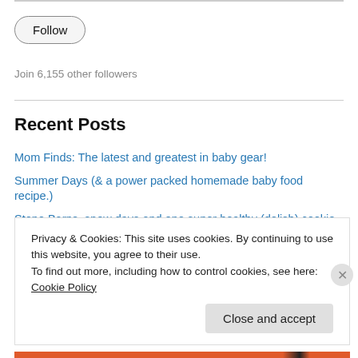Follow
Join 6,155 other followers
Recent Posts
Mom Finds: The latest and greatest in baby gear!
Summer Days (& a power packed homemade baby food recipe.)
Stone Barns, snow days and one super healthy (delish) cookie recipe.
Throwback Thursday: Welcome To Mommyhood: MONTH 1
Mood Boost: What Kim Kardashian & I are popping to beat the baby
Privacy & Cookies: This site uses cookies. By continuing to use this website, you agree to their use. To find out more, including how to control cookies, see here: Cookie Policy
Close and accept